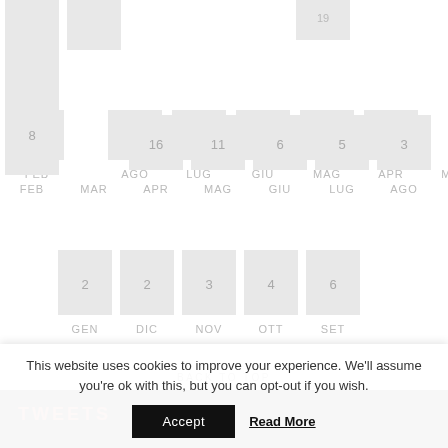[Figure (bar-chart): Monthly archive bar chart (top row)]
[Figure (bar-chart): Monthly archive bar chart (bottom row)]
BACK TO TOP
TWEETS
This website uses cookies to improve your experience. We'll assume you're ok with this, but you can opt-out if you wish.
Accept
Read More